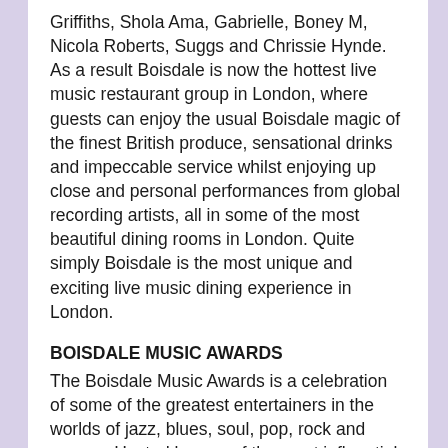Griffiths, Shola Ama, Gabrielle, Boney M, Nicola Roberts, Suggs and Chrissie Hynde. As a result Boisdale is now the hottest live music restaurant group in London, where guests can enjoy the usual Boisdale magic of the finest British produce, sensational drinks and impeccable service whilst enjoying up close and personal performances from global recording artists, all in some of the most beautiful dining rooms in London. Quite simply Boisdale is the most unique and exciting live music dining experience in London.
BOISDALE MUSIC AWARDS
The Boisdale Music Awards is a celebration of some of the greatest entertainers in the worlds of jazz, blues, soul, pop, rock and reggae. Hosted by one of the most influential broadcasters in the UK, Jools Holland, this is a truly unique and unpredictable occasion that honours extraordinary talent and sees